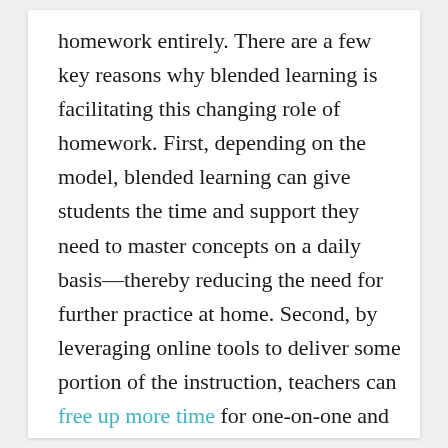homework entirely. There are a few key reasons why blended learning is facilitating this changing role of homework. First, depending on the model, blended learning can give students the time and support they need to master concepts on a daily basis—thereby reducing the need for further practice at home. Second, by leveraging online tools to deliver some portion of the instruction, teachers can free up more time for one-on-one and small-group instruction. This innovative use of time gives teachers daily, personal insights into individual student progress in ways that often